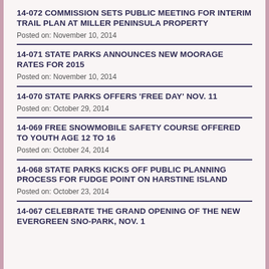14-072 COMMISSION SETS PUBLIC MEETING FOR INTERIM TRAIL PLAN AT MILLER PENINSULA PROPERTY
Posted on: November 10, 2014
14-071 STATE PARKS ANNOUNCES NEW MOORAGE RATES FOR 2015
Posted on: November 10, 2014
14-070 STATE PARKS OFFERS 'FREE DAY' NOV. 11
Posted on: October 29, 2014
14-069 FREE SNOWMOBILE SAFETY COURSE OFFERED TO YOUTH AGE 12 TO 16
Posted on: October 24, 2014
14-068 STATE PARKS KICKS OFF PUBLIC PLANNING PROCESS FOR FUDGE POINT ON HARSTINE ISLAND
Posted on: October 23, 2014
14-067 CELEBRATE THE GRAND OPENING OF THE NEW EVERGREEN SNO-PARK, NOV. 1